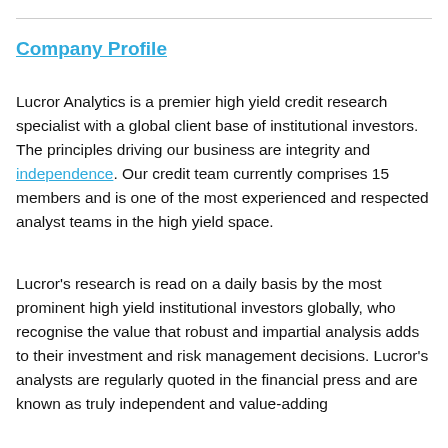Company Profile
Lucror Analytics is a premier high yield credit research specialist with a global client base of institutional investors. The principles driving our business are integrity and independence. Our credit team currently comprises 15 members and is one of the most experienced and respected analyst teams in the high yield space.
Lucror's research is read on a daily basis by the most prominent high yield institutional investors globally, who recognise the value that robust and impartial analysis adds to their investment and risk management decisions. Lucror's analysts are regularly quoted in the financial press and are known as truly independent and value-adding